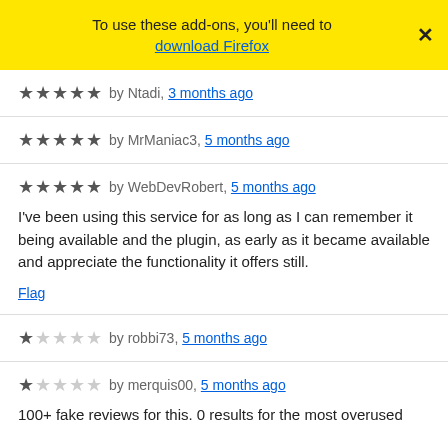To use these add-ons, you'll need to download Firefox
★★★★★ by Ntadi, 3 months ago
★★★★★ by MrManiac3, 5 months ago
★★★★★ by WebDevRobert, 5 months ago
I've been using this service for as long as I can remember it being available and the plugin, as early as it became available and appreciate the functionality it offers still.
Flag
★☆☆☆☆ by robbi73, 5 months ago
★☆☆☆☆ by merquis00, 5 months ago
100+ fake reviews for this. 0 results for the most overused